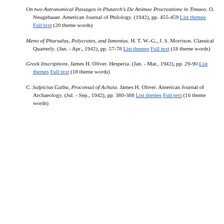On two Astronomical Passages in Plutarch's De Animae Procreatione in Timaeo. O. Neugebauer. American Journal of Philology. (1942), pp. 455-459 List themes Full text (20 theme words)
Meno of Pharsalus, Polycrates, and Ismenias. H. T. W.-G., J. S. Morrison. Classical Quarterly. (Jan. - Apr., 1942), pp. 57-78 List themes Full text (18 theme words)
Greek Inscriptions. James H. Oliver. Hesperia. (Jan. - Mar., 1942), pp. 29-90 List themes Full text (18 theme words)
C. Sulpicius Galba, Proconsul of Achaia. James H. Oliver. American Journal of Archaeology. (Jul. - Sep., 1942), pp. 380-388 List themes Full text (16 theme words)